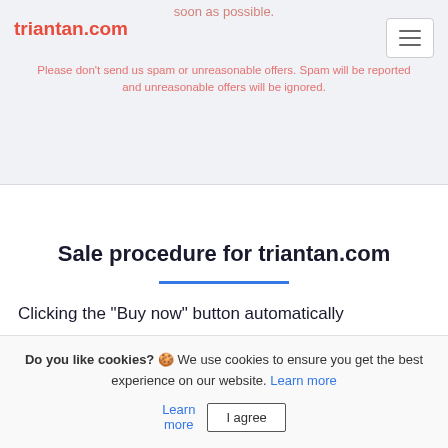soon as possible.
triantan.com
Please don't send us spam or unreasonable offers. Spam will be reported and unreasonable offers will be ignored.
Sale procedure for triantan.com
Clicking the "Buy now" button automatically
Do you like cookies? 🍪 We use cookies to ensure you get the best experience on our website. Learn more  I agree